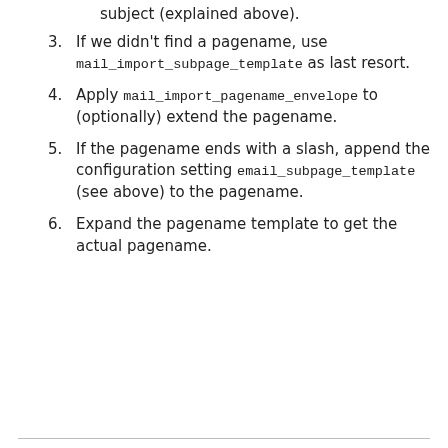Try to extract the pagename from the subject (explained above).
3. If we didn't find a pagename, use mail_import_subpage_template as last resort.
4. Apply mail_import_pagename_envelope to (optionally) extend the pagename.
5. If the pagename ends with a slash, append the configuration setting email_subpage_template (see above) to the pagename.
6. Expand the pagename template to get the actual pagename.